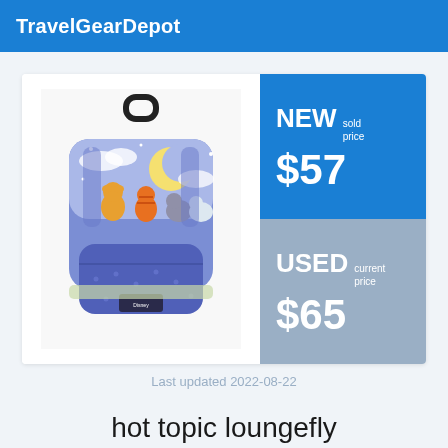TravelGearDepot
[Figure (photo): A blue Loungefly mini backpack with Disney characters under a moon and stars scene]
NEW sold price $57
USED current price $65
Last updated 2022-08-22
hot topic loungefly